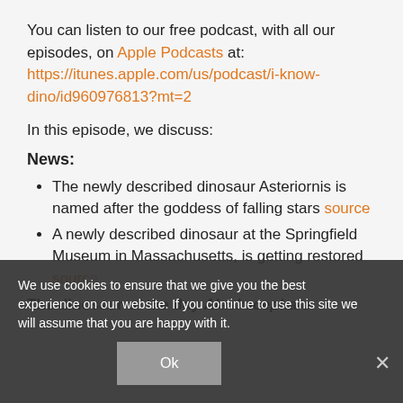You can listen to our free podcast, with all our episodes, on Apple Podcasts at: https://itunes.apple.com/us/podcast/i-know-dino/id960976813?mt=2
In this episode, we discuss:
News:
The newly described dinosaur Asteriornis is named after the goddess of falling stars source
A newly described dinosaur at the Springfield Museum in Massachusetts, is getting restored source
The dinosaur of the day Alaskacephale
We use cookies to ensure that we give you the best experience on our website. If you continue to use this site we will assume that you are happy with it.